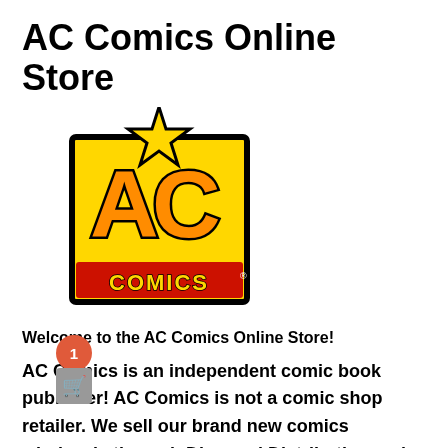AC Comics Online Store
[Figure (logo): AC Comics logo: yellow square border with large bold orange and black 'AC' letters and star above, red 'COMICS' text at bottom with registered trademark symbol]
Welcome to the AC Comics Online Store!
AC Comics is an independent comic book publisher! AC Comics is not a comic shop retailer. We sell our brand new comics wholesale through Diamond Distribution and our comic book back issues (from 1983 up to today!) through our website at